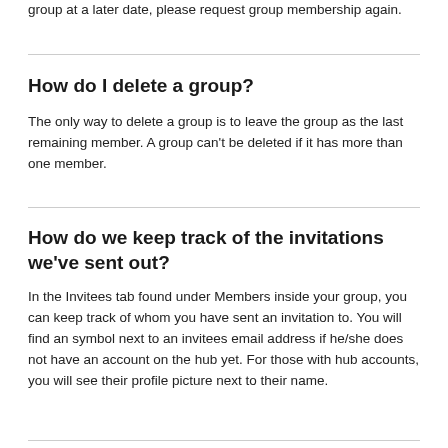group at a later date, please request group membership again.
How do I delete a group?
The only way to delete a group is to leave the group as the last remaining member. A group can't be deleted if it has more than one member.
How do we keep track of the invitations we've sent out?
In the Invitees tab found under Members inside your group, you can keep track of whom you have sent an invitation to. You will find an symbol next to an invitees email address if he/she does not have an account on the hub yet. For those with hub accounts, you will see their profile picture next to their name.